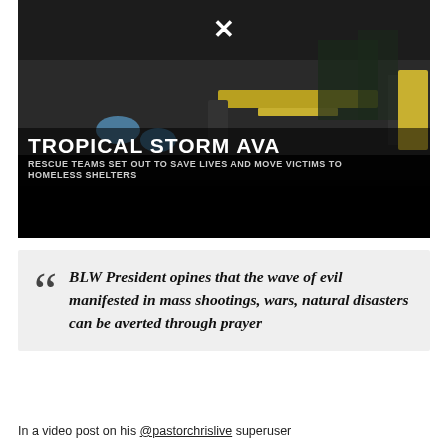[Figure (screenshot): Video screenshot showing emergency medical responders loading a stretcher into an ambulance, with a dark overlay and lower-third chyron reading 'TROPICAL STORM AVA - RESCUE TEAMS SET OUT TO SAVE LIVES AND MOVE VICTIMS TO HOMELESS SHELTERS' and a breaking news ticker showing '>>BREAKING NEWS'. A white X close button appears at the top center.]
BLW President opines that the wave of evil manifested in mass shootings, wars, natural disasters can be averted through prayer
In a video post on his @pastorchrislive superuser